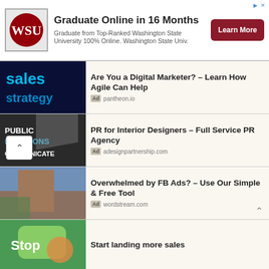[Figure (screenshot): WSU logo thumbnail for banner ad]
Graduate Online in 16 Months
Graduate from Top-Ranked Washington State University 100% Online. Washington State Univ.
Learn More
[Figure (photo): Digital blue sales strategy text on dark background]
Are You a Digital Marketer? – Learn How Agile Can Help
Ad pantheon.io
[Figure (photo): 3D public relations communicate text on dark background]
PR for Interior Designers – Full Service PR Agency
Ad adesignpartnership.com
[Figure (photo): Modern building exterior with sky background]
Overwhelmed by FB Ads? – Use Our Simple & Free Tool
Ad wordstream.com
[Figure (photo): Person with Stop sign and mobile phone green background]
Start landing more sales